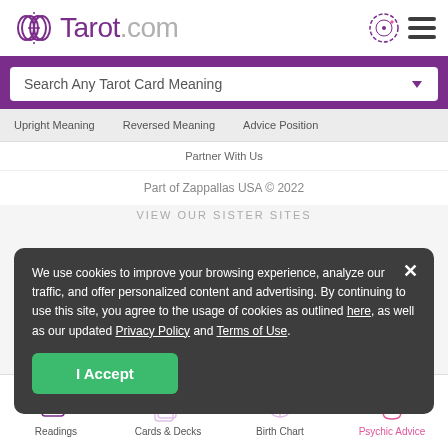Tarot.com
Search Any Tarot Card Meaning
Upright Meaning   Reversed Meaning   Advice Position
Partner With Us
Part of Zappallas USA © 2022
VIEW OUR SISTER SITES
We use cookies to improve your browsing experience, analyze our traffic, and offer personalized content and advertising. By continuing to use this site, you agree to the usage of cookies as outlined here, as well as our updated Privacy Policy and Terms of Use.
I Accept
Readings   Cards & Decks   Birth Chart   Psychic Advice